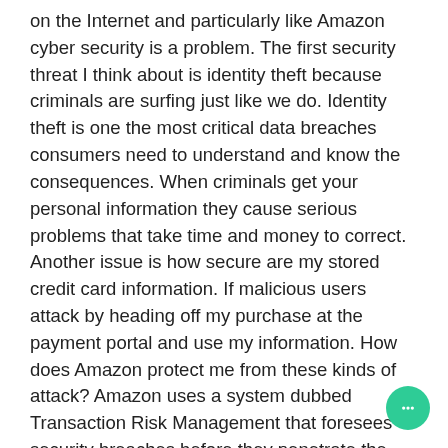on the Internet and particularly like Amazon cyber security is a problem. The first security threat I think about is identity theft because criminals are surfing just like we do. Identity theft is one the most critical data breaches consumers need to understand and know the consequences. When criminals get your personal information they cause serious problems that take time and money to correct. Another issue is how secure are my stored credit card information. If malicious users attack by heading off my purchase at the payment portal and use my information. How does Amazon protect me from these kinds of attack? Amazon uses a system dubbed Transaction Risk Management that foresees security breaches before they penetrate the transaction process.
As i use this site I implemented a two factor authentication process on all my credit cards and added spending limit alerts to each card. This is my first line of assurance that can bring me some sense of security. Next I do not open suspicious mail at all just like unwanted ads. Phishing scams are another way our personal information is stolen. Also, change your